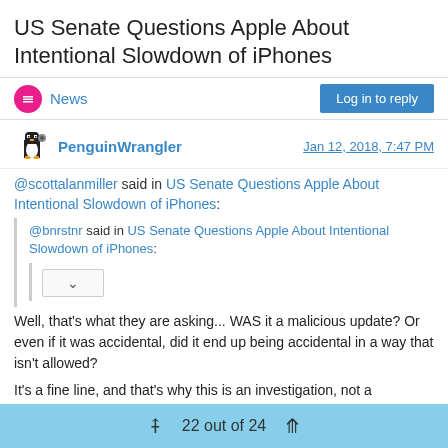US Senate Questions Apple About Intentional Slowdown of iPhones
News
PenguinWrangler  Jan 12, 2018, 7:47 PM
@scottalanmiller said in US Senate Questions Apple About Intentional Slowdown of iPhones:
@bnrstnr said in US Senate Questions Apple About Intentional Slowdown of iPhones:
Well, that's what they are asking... WAS it a malicious update? Or even if it was accidental, did it end up being accidental in a way that isn't allowed?
It's a fine line, and that's why this is an investigation, not a punishment. They want to get to the bottom of this and understand where people are protected, and where they are not.
22 out of 24